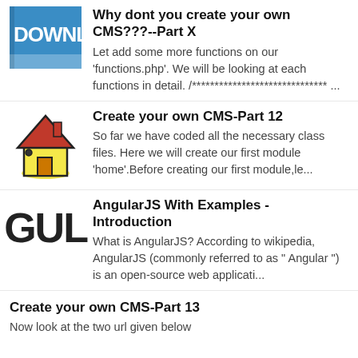Why dont you create your own CMS???--Part X
Let add some more functions on our 'functions.php'. We will be looking at each functions in detail. /****************************** ...
[Figure (screenshot): Download button thumbnail with blue background]
Create your own CMS-Part 12
So far we have coded all the necessary class files. Here we will create our first module 'home'.Before creating our first module,le...
[Figure (illustration): Yellow house icon illustration]
AngularJS With Examples - Introduction
What is AngularJS? According to wikipedia, AngularJS (commonly referred to as " Angular ") is an open-source web applicati...
[Figure (logo): GUL text logo]
Create your own CMS-Part 13
Now look at the two url given below